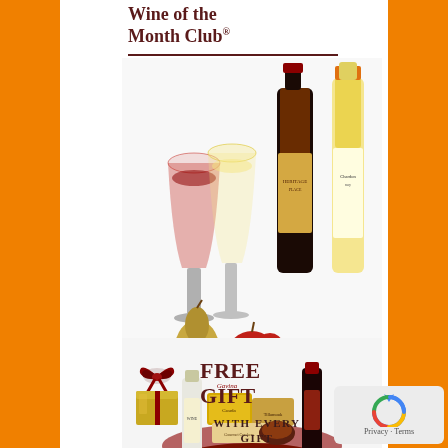Wine of the Month Club®
[Figure (photo): Wine bottles (red and white), wine glasses (red and white), pears and apples on a white background — promotional product photo for Wine of the Month Club]
[Figure (photo): Gift basket filled with wine bottles and gourmet food items (cheese, crackers, chocolates)]
[Figure (photo): Gold gift box with dark red ribbon bow]
Free Gift
With Every Gift Membership